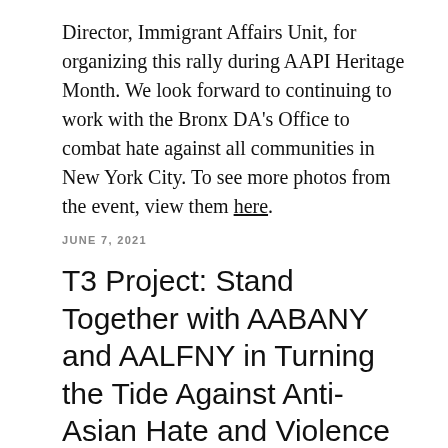Director, Immigrant Affairs Unit, for organizing this rally during AAPI Heritage Month. We look forward to continuing to work with the Bronx DA's Office to combat hate against all communities in New York City. To see more photos from the event, view them here.
JUNE 7, 2021
T3 Project: Stand Together with AABANY and AALFNY in Turning the Tide Against Anti-Asian Hate and Violence